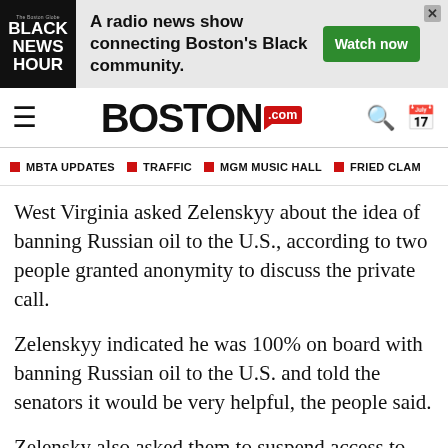[Figure (other): Black News Hour advertisement banner - radio news show connecting Boston's Black community with Watch now button]
Boston.com - navigation header with hamburger menu, Boston.com logo, search and calendar icons
MBTA UPDATES | TRAFFIC | MGM MUSIC HALL | FRIED CLAM
West Virginia asked Zelenskyy about the idea of banning Russian oil to the U.S., according to two people granted anonymity to discuss the private call.
Zelenskyy indicated he was 100% on board with banning Russian oil to the U.S. and told the senators it would be very helpful, the people said.
Zelensky also asked them to suspend access to Visa and Mastercard credit cards in Russia, according to another person granted anonymity to